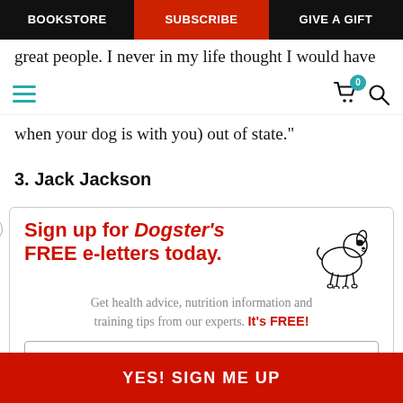BOOKSTORE | SUBSCRIBE | GIVE A GIFT
great people. I never in my life thought I would have it
when your dog is with you) out of state."
3. Jack Jackson
[Figure (infographic): Sign up for Dogster's FREE e-letters today. Get health advice, nutrition information and training tips from our experts. It's FREE! Email signup form with 'Enter your Email' field and 'YES! SIGN ME UP' button.]